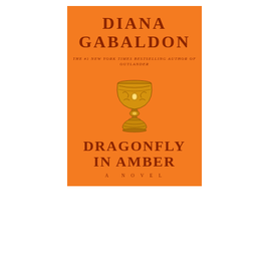[Figure (illustration): Book cover of 'Dragonfly in Amber' by Diana Gabaldon. Orange background with author name at top, subtitle 'The #1 New York Times Bestselling Author of Outlander', a decorative golden goblet/chalice in center, and book title 'Dragonfly in Amber: A Novel' at bottom. All text and imagery in dark reddish-brown on orange.]